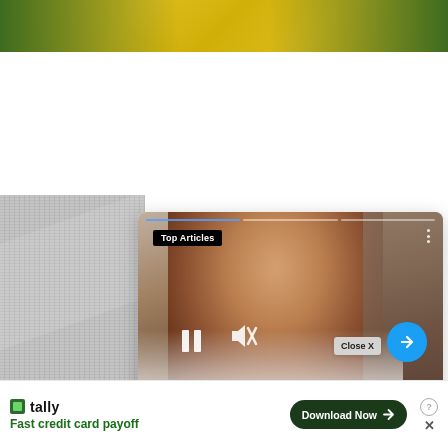[Figure (photo): Top portion of a person wearing yellow dress outdoors with green foliage background, cropped at bottom]
[Figure (screenshot): Overlay card showing a social media story-style interface with a woman's photo, 'Top Articles' badge, pause/mute controls, blue arrow button, and article title 'Maia Reficco Wiki, Boyfriend, Age, Height, Parents, Net Worth & More - Celebsweek- Biogr...' with a 'Close X' overlay button]
[Figure (photo): Gray textured stone or gravel surface in lower left area]
[Figure (screenshot): Tally app advertisement at bottom: 'Fast credit card payoff' with 'Download Now' button and close controls]